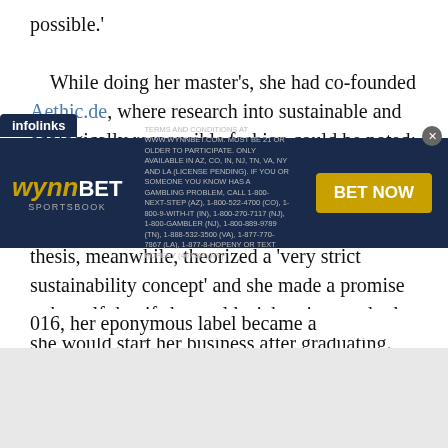possible.'
While doing her master's, she had co-founded Aethic.de, where research into sustainable and ecologically responsible fashion could be noted; since then, it has become a network for sustainable fashion designers. It showed a commitment on von Hirschhausen's part. Her thesis, meanwhile, theorized a 'very strict sustainability concept' and she made a promise to herself that if she could stick to its standards, she would start her business after graduating.
016, her eponymous label became a
[Figure (screenshot): WynnBET Sportsbook advertisement banner with infolinks tab, terms and conditions text, and BET NOW button]